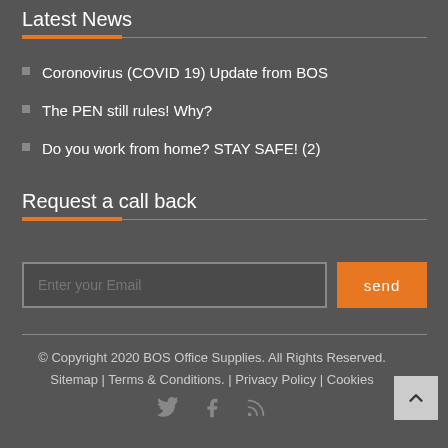Latest News
Coronovirus (COVID 19) Update from BOS
The PEN still rules! Why?
Do you work from home? STAY SAFE! (2)
Request a call back
Enter your Email
send
© Copyright 2020 BOS Office Supplies. All Rights Reserved. Sitemap | Terms & Conditions. | Privacy Policy | Cookies